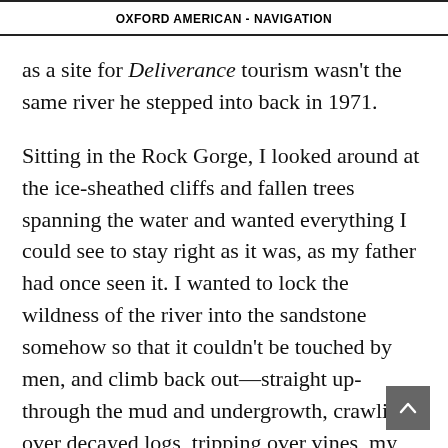OXFORD AMERICAN - NAVIGATION
as a site for Deliverance tourism wasn't the same river he stepped into back in 1971.
Sitting in the Rock Gorge, I looked around at the ice-sheathed cliffs and fallen trees spanning the water and wanted everything I could see to stay right as it was, as my father had once seen it. I wanted to lock the wildness of the river into the sandstone somehow so that it couldn't be touched by men, and climb back out—straight up-through the mud and undergrowth, crawling over decayed logs, tripping over vines, my lungs burning from the effort